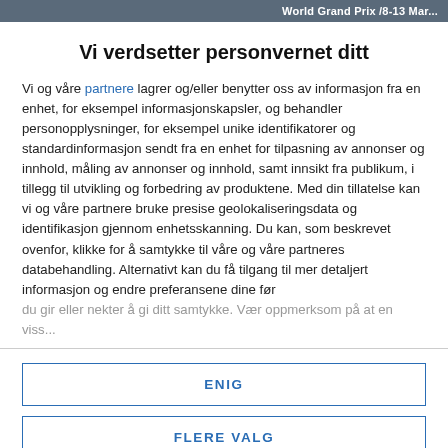World Grand Prix /8-13 Mar...
Vi verdsetter personvernet ditt
Vi og våre partnere lagrer og/eller benytter oss av informasjon fra en enhet, for eksempel informasjonskapsler, og behandler personopplysninger, for eksempel unike identifikatorer og standardinformasjon sendt fra en enhet for tilpasning av annonser og innhold, måling av annonser og innhold, samt innsikt fra publikum, i tillegg til utvikling og forbedring av produktene. Med din tillatelse kan vi og våre partnere bruke presise geolokaliseringsdata og identifikasjon gjennom enhetsskanning. Du kan, som beskrevet ovenfor, klikke for å samtykke til våre og våre partneres databehandling. Alternativt kan du få tilgang til mer detaljert informasjon og endre preferansene dine før du gir eller nekter å gi ditt samtykke. Vær oppmerksom på at en viss...
ENIG
FLERE VALG